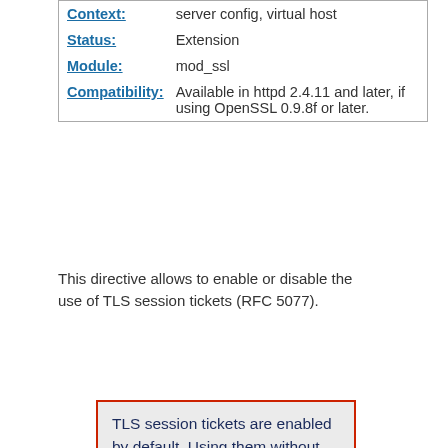| Context: | server config, virtual host |
| Status: | Extension |
| Module: | mod_ssl |
| Compatibility: | Available in httpd 2.4.11 and later, if using OpenSSL 0.9.8f or later. |
This directive allows to enable or disable the use of TLS session tickets (RFC 5077).
TLS session tickets are enabled by default. Using them without restarting the web server with an appropriate frequency (e.g. daily)